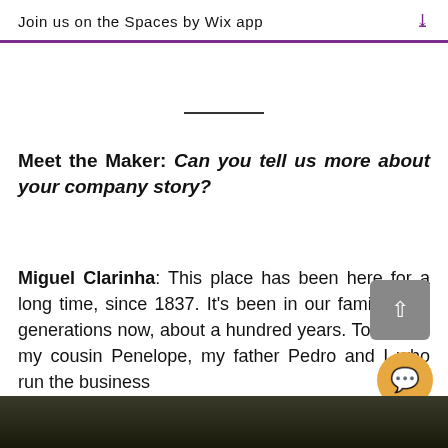Join us on the Spaces by Wix app
Meet the Maker: Can you tell us more about your company story?
Miguel Clarinha: This place has been here for a long time, since 1837. It's been in our family for 4 generations now, about a hundred years. Today, it's my cousin Penelope, my father Pedro and I who run the business
[Figure (photo): Bottom strip showing a dark outdoor/nature photo]